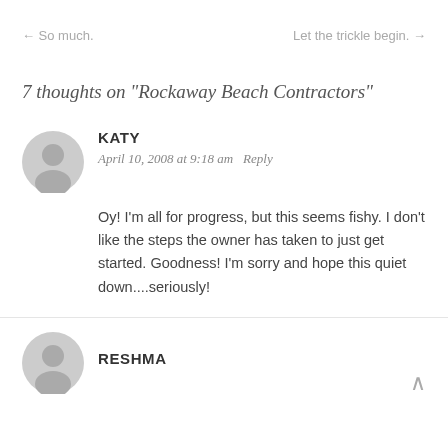← So much.    Let the trickle begin. →
7 thoughts on "Rockaway Beach Contractors"
KATY
April 10, 2008 at 9:18 am Reply
Oy! I'm all for progress, but this seems fishy. I don't like the steps the owner has taken to just get started. Goodness! I'm sorry and hope this quiet down....seriously!
RESHMA